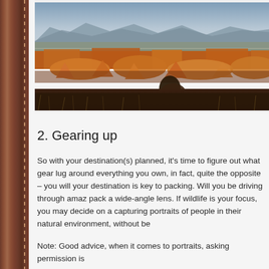[Figure (photo): Panoramic landscape photograph of a desert canyon scene with red rock formations, flat-topped mesas in the middle distance, scrubby desert vegetation in the foreground, and mountains in the background under a blue-grey sky.]
2. Gearing up
So with your destination(s) planned, it's time to figure out what gear lug around everything you own, in fact, quite the opposite – you will your destination is key to packing. Will you be driving through amaz pack a wide-angle lens. If wildlife is your focus, you may decide on a capturing portraits of people in their natural environment, without be
Note: Good advice, when it comes to portraits, asking permission is